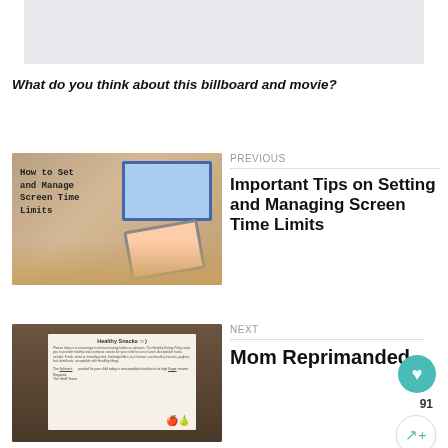[Figure (photo): Gray placeholder image area at the top of the page]
What do you think about this billboard and movie?
[Figure (photo): Thumbnail image showing a monitor and tablet with text 'How to Set and Manage Screen Time Limits' - hands using a tablet]
PREVIOUS
Important Tips on Setting and Managing Screen Time Limits
[Figure (photo): Thumbnail image showing a handwritten note titled 'Healthy Snacks' from a school staff team]
NEXT
Mom Reprimanded